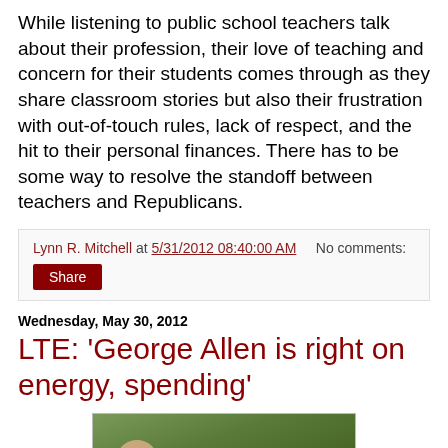While listening to public school teachers talk about their profession, their love of teaching and concern for their students comes through as they share classroom stories but also their frustration with out-of-touch rules, lack of respect, and the hit to their personal finances. There has to be some way to resolve the standoff between teachers and Republicans.
Lynn R. Mitchell at 5/31/2012 08:40:00 AM   No comments:
Share
Wednesday, May 30, 2012
LTE: 'George Allen is right on energy, spending'
[Figure (photo): News broadcast screenshot showing outdoor scene with blue banner text at bottom reading 'LET FREEDOM RING']